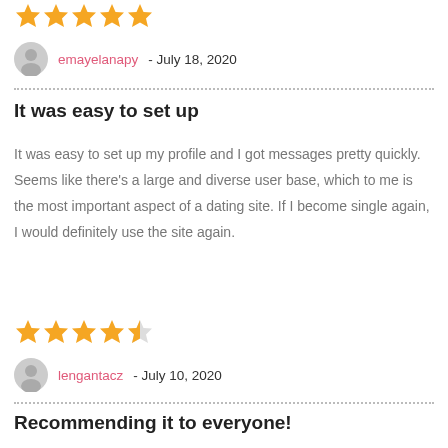[Figure (other): Five orange star rating icons (full stars)]
emayelanapy - July 18, 2020
It was easy to set up
It was easy to set up my profile and I got messages pretty quickly. Seems like there's a large and diverse user base, which to me is the most important aspect of a dating site. If I become single again, I would definitely use the site again.
[Figure (other): Four full orange stars and one half/outline orange star rating (4.5 out of 5)]
lengantacz - July 10, 2020
Recommending it to everyone!